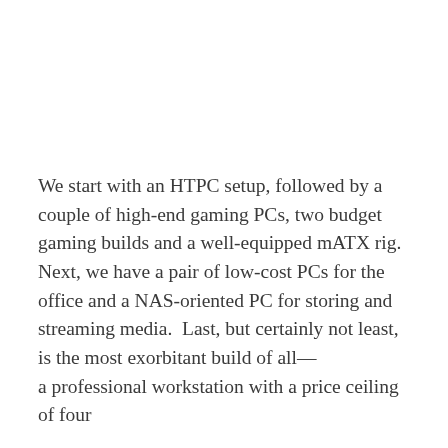We start with an HTPC setup, followed by a couple of high-end gaming PCs, two budget gaming builds and a well-equipped mATX rig.  Next, we have a pair of low-cost PCs for the office and a NAS-oriented PC for storing and streaming media.  Last, but certainly not least, is the most exorbitant build of all—a professional workstation with a price ceiling of four